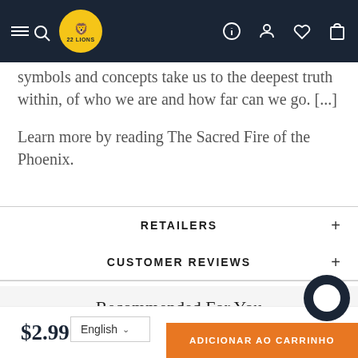22 Lions navigation bar
symbols and concepts take us to the deepest truth within, of who we are and how far can we go. [...]
Learn more by reading The Sacred Fire of the Phoenix.
RETAILERS +
CUSTOMER REVIEWS +
Recommended For You
$2.99
English
ADICIONAR AO CARRINHO